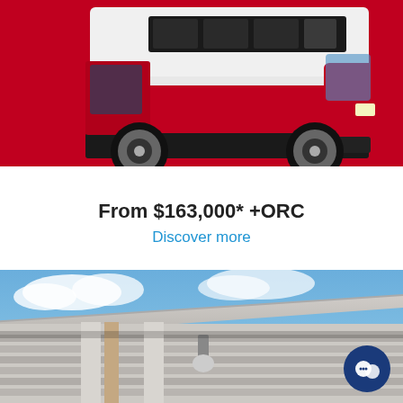[Figure (photo): Red and white high-roof Volkswagen Crafter van (minibus) shown in side profile against a red background]
From $163,000* +ORC
Discover more
[Figure (photo): Modern commercial building exterior with horizontal louvres and blue sky in background, with a dark navy chat/messaging button in the bottom right corner]